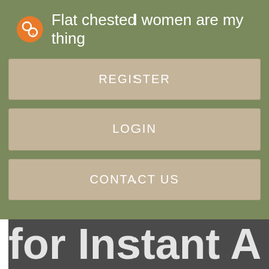Flat chested women are my thing
REGISTER
LOGIN
CONTACT US
[Figure (screenshot): Partially visible text reading 'for Instant A' in large white bold letters on dark gray background, cropped mobile app screenshot]